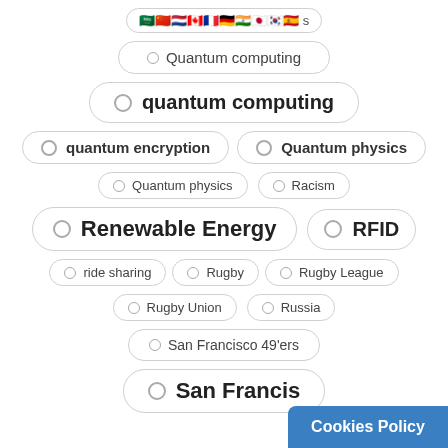flags row (Saudi Arabia, China, Netherlands, Canada, France, Germany, India, Japan, South Korea, Spain) s
Quantum computing
quantum computing
quantum encryption
Quantum physics
Quantum physics
Racism
Renewable Energy
RFID
ride sharing
Rugby
Rugby League
Rugby Union
Russia
San Francisco 49'ers
San Francis...
Cookies Policy